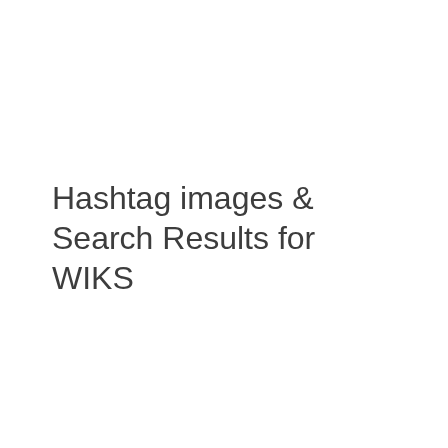Hashtag images & Search Results for WIKS